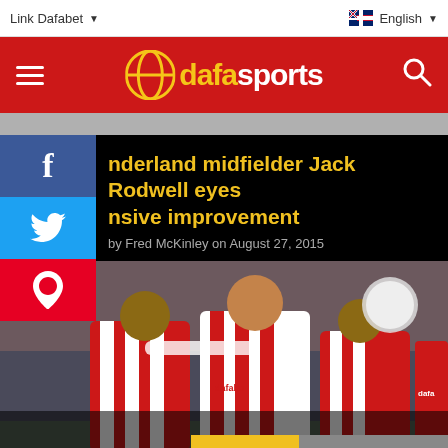Link Dafabet | English
[Figure (logo): Dafasports logo on red background with hamburger menu and search icon]
Sunderland midfielder Jack Rodwell eyes offensive improvement
by Fred McKinley on August 27, 2015
[Figure (photo): Sunderland football players celebrating in red and white striped jerseys with Dafabet sponsor, including Jack Rodwell]
JOIN NOW! | VIEW MARKET ▶